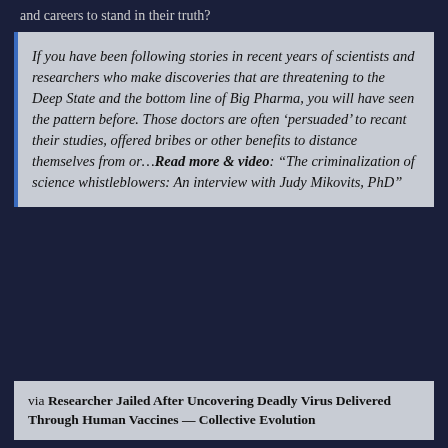and careers to stand in their truth?
If you have been following stories in recent years of scientists and researchers who make discoveries that are threatening to the Deep State and the bottom line of Big Pharma, you will have seen the pattern before. Those doctors are often ‘persuaded’ to recant their studies, offered bribes or other benefits to distance themselves from or…Read more & video: “The criminalization of science whistleblowers: An interview with Judy Mikovits, PhD”
via Researcher Jailed After Uncovering Deadly Virus Delivered Through Human Vaccines — Collective Evolution